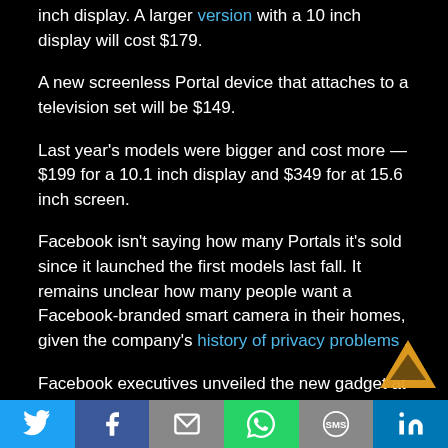inch display. A larger version with a 10 inch display will cost $179.
A new screenless Portal device that attaches to a television set will be $149.
Last year’s models were bigger and cost more — $199 for a 10.1 inch display and $349 for at 15.6 inch screen.
Facebook isn’t saying how many Portals it’s sold since it launched the first models last fall. It remains unclear how many people want a Facebook-branded smart camera in their homes, given the company’s history of privacy problems .
Facebook executives unveiled the new gadget at a small event in San Francisco this week. In addition to losing a few